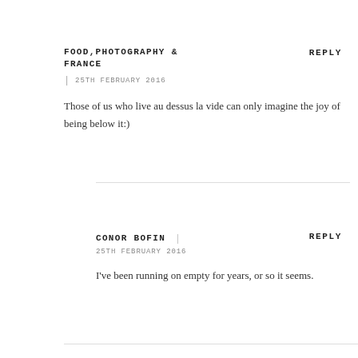FOOD,PHOTOGRAPHY & FRANCE
REPLY
25TH FEBRUARY 2016
Those of us who live au dessus la vide can only imagine the joy of being below it:)
CONOR BOFIN
REPLY
25TH FEBRUARY 2016
I've been running on empty for years, or so it seems.